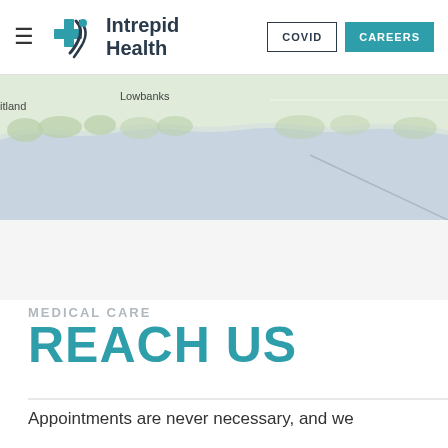Intrepid Health — navigation header with COVID and CAREERS buttons
[Figure (map): Partial map screenshot showing geographic area with labels 'Lowbanks' and partial text 'itland', with road lines on a light blue/grey background]
MEDICAL CARE
REACH US
Appointments are never necessary, and we